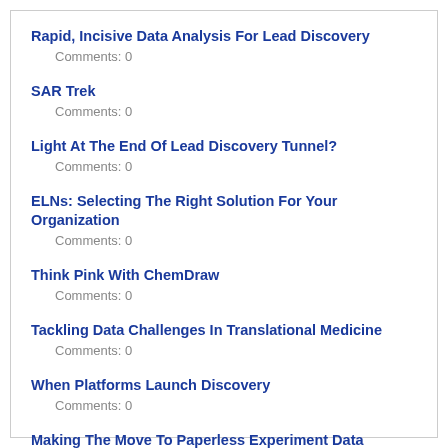Rapid, Incisive Data Analysis For Lead Discovery
Comments: 0
SAR Trek
Comments: 0
Light At The End Of Lead Discovery Tunnel?
Comments: 0
ELNs: Selecting The Right Solution For Your Organization
Comments: 0
Think Pink With ChemDraw
Comments: 0
Tackling Data Challenges In Translational Medicine
Comments: 0
When Platforms Launch Discovery
Comments: 0
Making The Move To Paperless Experiment Data Capture
Comments: 0
A Teacher's How-To Guide For Unlocking The Mysteries Of Organic Chemistry
Comments: 0